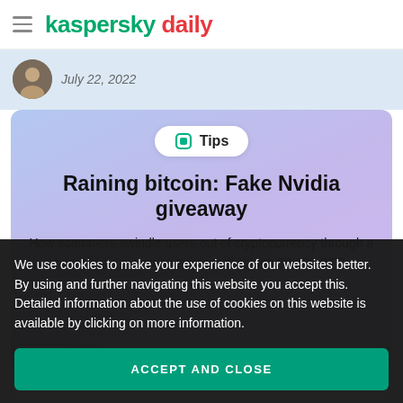kaspersky daily
[Figure (illustration): Author avatar circle with date text 'July 22, 2022']
Tips
Raining bitcoin: Fake Nvidia giveaway
How scammers swindle users out of cryptocurrency through a fake Nvidia giveaway supposedly worth 50,000 BTC.
We use cookies to make your experience of our websites better. By using and further navigating this website you accept this. Detailed information about the use of cookies on this website is available by clicking on more information.
ACCEPT AND CLOSE